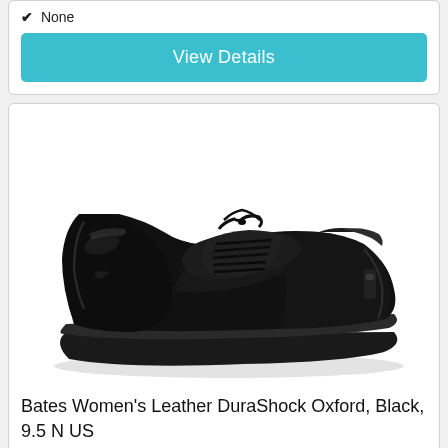✔ None
View Details
[Figure (photo): Black leather Oxford dress shoe (Bates Women's Leather DuraShock Oxford) photographed on a white background, showing the full shoe from a slight side angle. The shoe is black patent leather with laces and a rubber sole.]
Bates Women's Leather DuraShock Oxford, Black, 9.5 N US